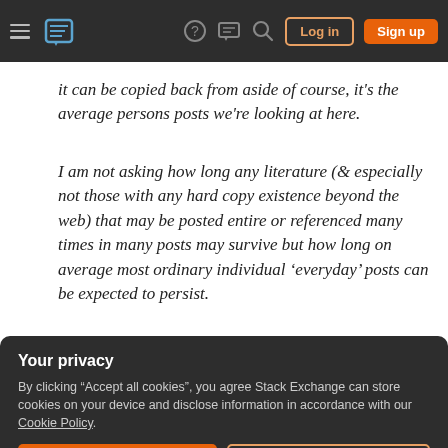Stack Exchange navigation bar with logo, help, chat, search, log in, sign up
it can be copied back from aside of course, it's the average persons posts we're looking at here.
I am not asking how long any literature (& especially not those with any hard copy existence beyond the web) that may be posted entire or referenced many times in many posts may survive but how long on average most ordinary individual 'everyday' posts can be expected to persist.
technology
internet
Your privacy
By clicking "Accept all cookies", you agree Stack Exchange can store cookies on your device and disclose information in accordance with our Cookie Policy.
Accept all cookies | Customize settings